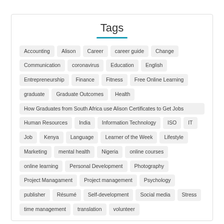Tags
Accounting
Alison
Career
career guide
Change
Communication
coronavirus
Education
English
Entrepreneurship
Finance
Fitness
Free Online Learning
graduate
Graduate Outcomes
Health
How Graduates from South Africa use Alison Certificates to Get Jobs
Human Resources
India
Information Technology
ISO
IT
Job
Kenya
Language
Learner of the Week
Lifestyle
Marketing
mental health
Nigeria
online courses
online learning
Personal Development
Photography
Project Managament
Project management
Psychology
publisher
Résumé
Self-development
Social media
Stress
time management
translation
volunteer